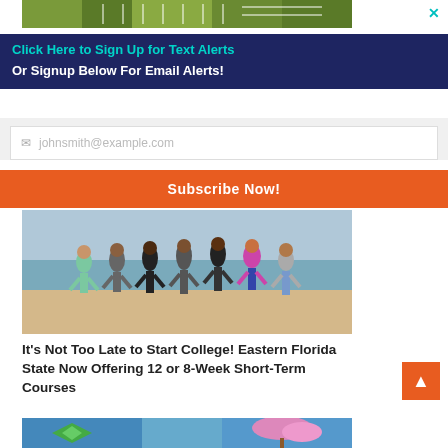[Figure (photo): Top advertisement banner showing colorful outdoor scene]
✕
Click Here to Sign Up for Text Alerts
Or Signup Below For Email Alerts!
johnsmith@example.com
Subscribe Now!
[Figure (photo): Group of young people jumping on a beach]
It's Not Too Late to Start College! Eastern Florida State Now Offering 12 or 8-Week Short-Term Courses
[Figure (photo): Bottom thumbnail image with green and blue tones]